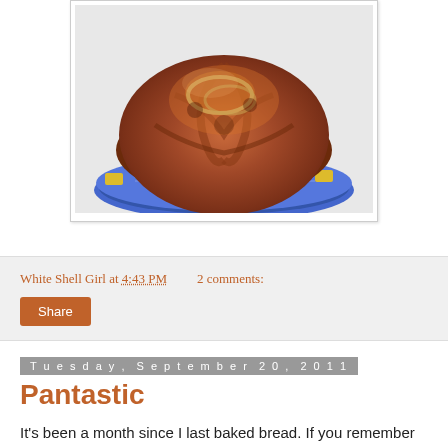[Figure (photo): Close-up photo of a round baked bread with swirled caramelized top, placed on a colorful patterned plate/rack with blue, yellow and green designs.]
White Shell Girl at 4:43 PM   2 comments:
Share
Tuesday, September 20, 2011
Pantastic
It's been a month since I last baked bread. If you remember the last time, back in San Miguel de Allende, Mexico when I was experimenting with yeast made from guava, the result resembled something from the smurf village bakery.